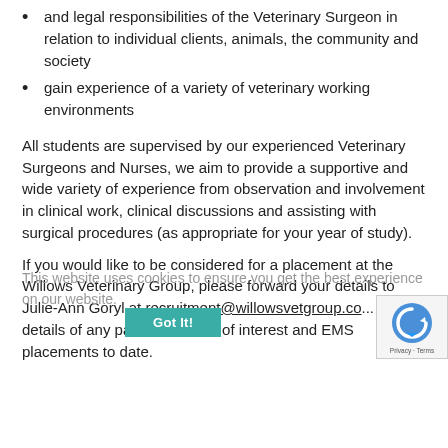and legal responsibilities of the Veterinary Surgeon in relation to individual clients, animals, the community and society
gain experience of a variety of veterinary working environments
All students are supervised by our experienced Veterinary Surgeons and Nurses, we aim to provide a supportive and wide variety of experience from observation and involvement in clinical work, clinical discussions and assisting with surgical procedures (as appropriate for your year of study).
This website uses cookies to ensure you get the best experience on our website.
If you would like to be considered for a placement at the Willows Veterinary Group, please forward your details to Julie-Ann Goryl at recruitment@willowsvetgroup.co... include details of any particular areas of interest and EMS placements to date.